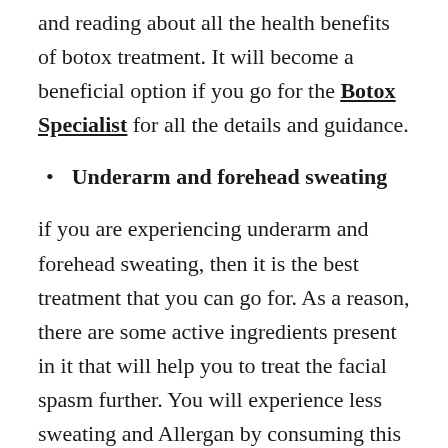and reading about all the health benefits of botox treatment. It will become a beneficial option if you go for the Botox Specialist for all the details and guidance.
Underarm and forehead sweating
if you are experiencing underarm and forehead sweating, then it is the best treatment that you can go for. As a reason, there are some active ingredients present in it that will help you to treat the facial spasm further. You will experience less sweating and Allergan by consuming this injection. It will also improve the face ability and colour complexion of your skin.